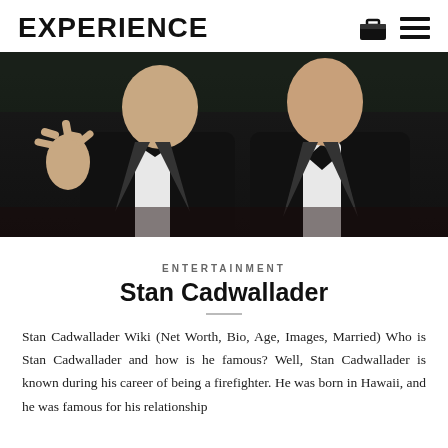EXPERIENCE
[Figure (photo): Two men in black tuxedos with bow ties at a formal event; the man on the left is waving.]
ENTERTAINMENT
Stan Cadwallader
Stan Cadwallader Wiki (Net Worth, Bio, Age, Images, Married) Who is Stan Cadwallader and how is he famous? Well, Stan Cadwallader is known during his career of being a firefighter. He was born in Hawaii, and he was famous for his relationship